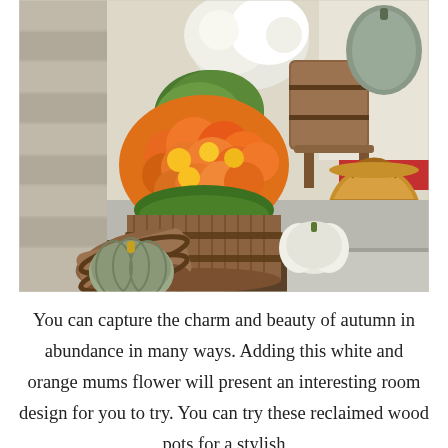[Figure (photo): Autumn porch decoration with orange and yellow mums in a wooden barrel planter, white and green pumpkins on steps, a wicker basket, and a gray-green pumpkin in a tipped wooden barrel on the ground. Stone wall visible in background.]
You can capture the charm and beauty of autumn in abundance in many ways. Adding this white and orange mums flower will present an interesting room design for you to try. You can try these reclaimed wood pots for a stylish